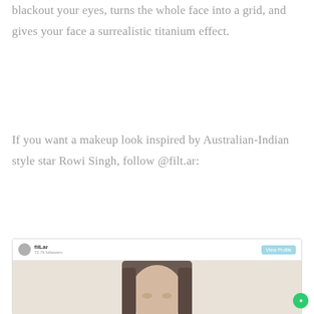blackout your eyes, turns the whole face into a grid, and gives your face a surrealistic titanium effect.
If you want a makeup look inspired by Australian-Indian style star Rowi Singh, follow @filt.ar:
[Figure (screenshot): Instagram-style profile screenshot showing filLar account with 72.7k followers and a View Profile button, with a person's face visible below]